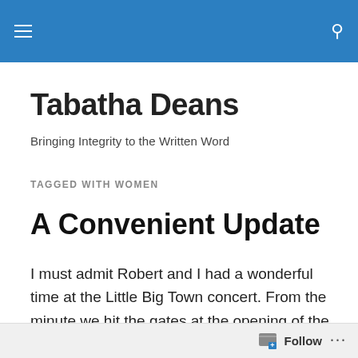Tabatha Deans — site header navigation bar
Tabatha Deans
Bringing Integrity to the Written Word
TAGGED WITH WOMEN
A Convenient Update
I must admit Robert and I had a wonderful time at the Little Big Town concert. From the minute we hit the gates at the opening of the facility, the people working the venue were incredibly nice. It started
Follow ...